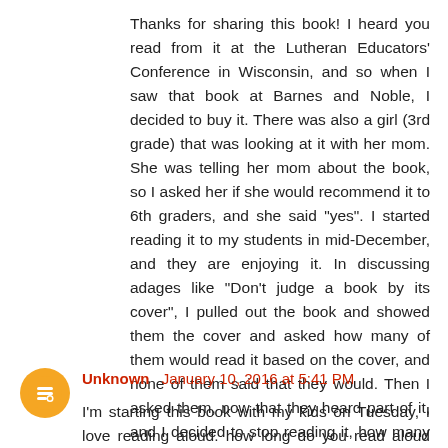Thanks for sharing this book! I heard you read from it at the Lutheran Educators' Conference in Wisconsin, and so when I saw that book at Barnes and Noble, I decided to buy it. There was also a girl (3rd grade) that was looking at it with her mom. She was telling her mom about the book, so I asked her if she would recommend it to 6th graders, and she said "yes". I started reading it to my students in mid-December, and they are enjoying it. In discussing adages like "Don't judge a book by its cover", I pulled out the book and showed them the cover and asked how many of them would read it based on the cover, and none of them said that they would. Then I asked them, now that they heard part of it, and I decided to stop reading it, how many of them would want to finish reading it, and most of them said that they would.
Reply
Unknown January 10, 2016 at 5:41 PM
I'm starting this book with my kids on Tuesday, I love reading aloud. how long do you read aloud for? I'm also